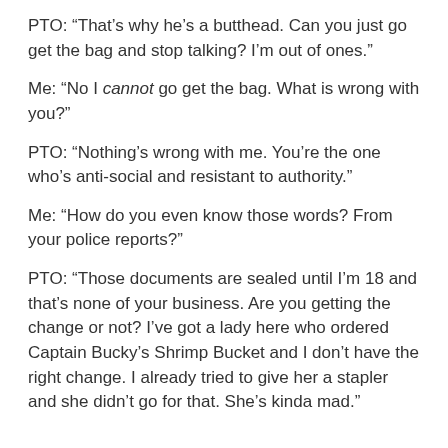PTO: “That’s why he’s a butthead. Can you just go get the bag and stop talking? I’m out of ones.”
Me: “No I cannot go get the bag. What is wrong with you?”
PTO: “Nothing’s wrong with me. You’re the one who’s anti-social and resistant to authority.”
Me: “How do you even know those words? From your police reports?”
PTO: “Those documents are sealed until I’m 18 and that’s none of your business. Are you getting the change or not? I’ve got a lady here who ordered Captain Bucky’s Shrimp Bucket and I don’t have the right change. I already tried to give her a stapler and she didn’t go for that. She’s kinda mad.”